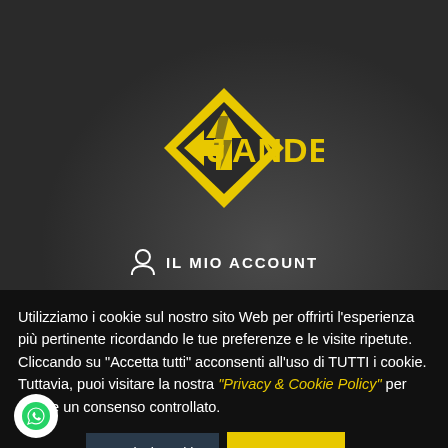[Figure (logo): JANDE logo — yellow diamond shape with arrow and lightning bolt, text JANDE in yellow]
IL MIO ACCOUNT
Utilizziamo i cookie sul nostro sito Web per offrirti l'esperienza più pertinente ricordando le tue preferenze e le visite ripetute. Cliccando su "Accetta tutti" acconsenti all'uso di TUTTI i cookie. Tuttavia, puoi visitare la nostra "Privacy & Cookie Policy" per fornire un consenso controllato.
Gestisci Cookie
Accetta